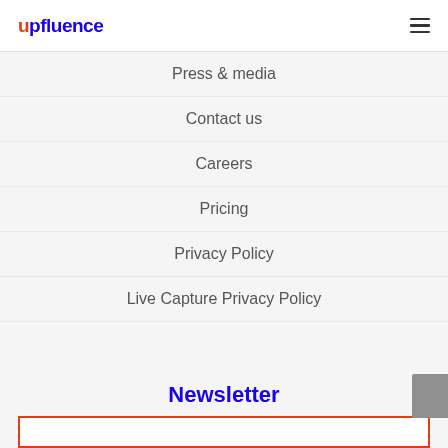upfluence
Press & media
Contact us
Careers
Pricing
Privacy Policy
Live Capture Privacy Policy
Newsletter